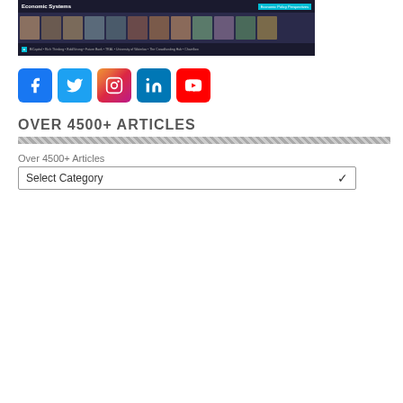[Figure (photo): Banner image showing Economic Systems conference/event with a row of speaker headshots and sponsor logos at the bottom]
[Figure (infographic): Row of five social media icons: Facebook (blue), Twitter (blue), Instagram (gradient), LinkedIn (blue), YouTube (red)]
OVER 4500+ ARTICLES
Over 4500+ Articles
Select Category